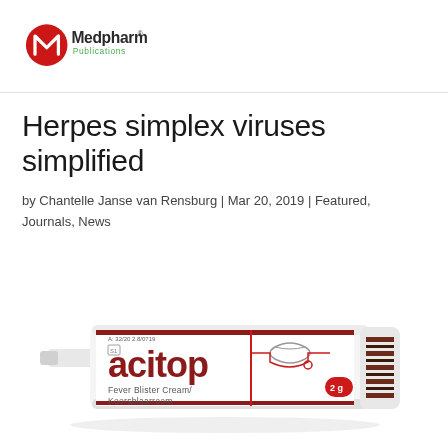[Figure (logo): Medpharm Publications logo — red circle with stylized M, text 'Medpharm' in dark grey and 'Publications' in green, with registered trademark symbol]
Herpes simplex viruses simplified
by Chantelle Janse van Rensburg | Mar 20, 2019 | Featured, Journals, News
[Figure (photo): Acitop Fever Blister Cream / Koorsblaarroom 2g tube product photo — white cream tube with dark red acitop branding, lip illustration, striped barcode area on right end]